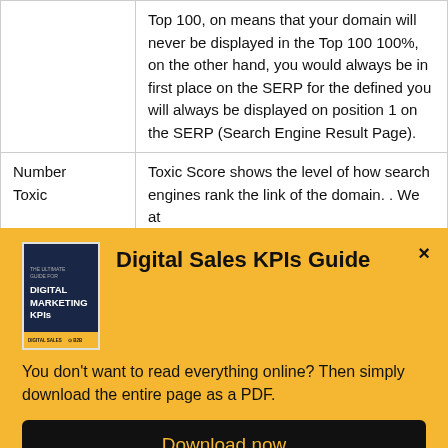|  |  |
| --- | --- |
|  | Top 100, on means that your domain will never be displayed in the Top 100 100%, on the other hand, you would always be in first place on the SERP for the defined you will always be displayed on position 1 on the SERP (Search Engine Result Page). |
| Number Toxic | Toxic Score shows the level of how search engines rank the link of the domain. . We at |
[Figure (illustration): Book cover for Digital Marketing KPIs guide with dark navy background and yellow accent]
Digital Sales KPIs Guide
You don't want to read everything online? Then simply download the entire page as a PDF.